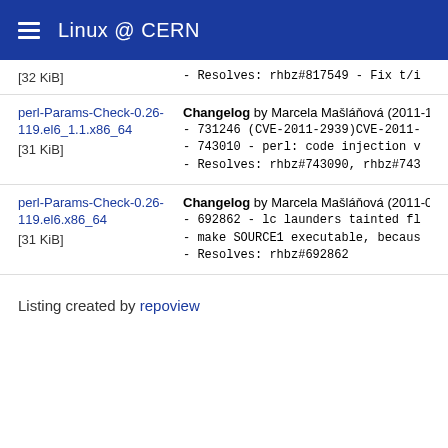Linux @ CERN
| Package | Changelog |
| --- | --- |
| [32 KiB] | - Resolves: rhbz#817549 - Fix t/i |
| perl-Params-Check-0.26-119.el6_1.1.x86_64
[31 KiB] | Changelog by Marcela Mašláňová (2011-10-04):
- 731246 (CVE-2011-2939)CVE-2011-
- 743010 - perl: code injection v
- Resolves: rhbz#743090, rhbz#743 |
| perl-Params-Check-0.26-119.el6.x86_64
[31 KiB] | Changelog by Marcela Mašláňová (2011-04-19):
- 692862 - lc launders tainted fl
- make SOURCE1 executable, becaus
- Resolves: rhbz#692862 |
Listing created by repoview